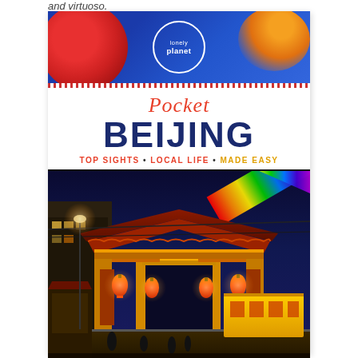and virtuoso.
[Figure (photo): Cover of Lonely Planet Pocket Beijing travel guide. Top section shows a blue banner with Lonely Planet logo (white circle with text). Middle section on white background shows 'Pocket' in red italic script and 'BEIJING' in large dark blue bold text, with subtitle 'TOP SIGHTS • LOCAL LIFE • MADE EASY' in red and gold. Bottom section is a photograph of a traditional Chinese gate/archway (paifang) lit up at night with colorful Chinese lanterns and signs, taken in Beijing's Wangfujing or similar commercial street area, with a rainbow stripe decoration in the top right corner.]